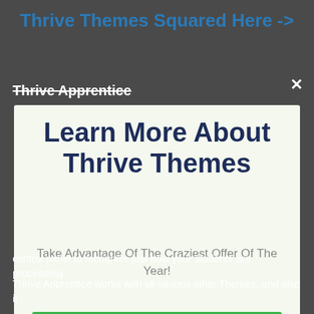Thrive Themes Squared Here ->
Thrive Apprentice
Learn More About Thrive Themes
Take Advantage Of The Craziest Offer Of The Year!
CHECK OUT THE OFFICIAL THRIVE SITE HERE
No thanks, I'm not interested!
control panel to recognize just how your students are proceeding.
Thrive Apprentice works with all various other Themes, and also it